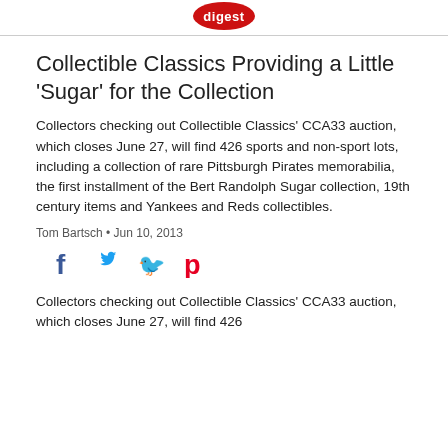digest
Collectible Classics Providing a Little 'Sugar' for the Collection
Collectors checking out Collectible Classics' CCA33 auction, which closes June 27, will find 426 sports and non-sport lots, including a collection of rare Pittsburgh Pirates memorabilia, the first installment of the Bert Randolph Sugar collection, 19th century items and Yankees and Reds collectibles.
Tom Bartsch • Jun 10, 2013
[Figure (infographic): Social sharing icons: Facebook (f), Twitter (bird), Pinterest (p)]
Collectors checking out Collectible Classics' CCA33 auction, which closes June 27, will find 426